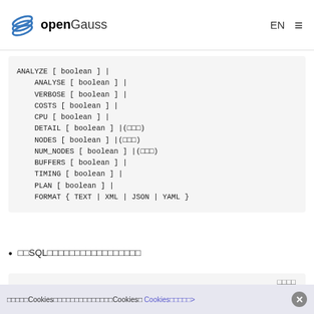openGauss EN ☰
□□SQL□□□□□□□□□□□□□□□□□
[Figure (screenshot): Partial code block visible at bottom with copy button]
□□□□□Cookies□□□□□□□□□□□□□□Cookies□ Cookies□□□□□>  ✕